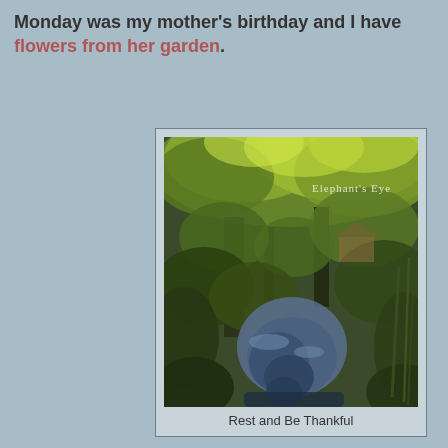Monday was my mother's birthday and I have flowers from her garden.
[Figure (photo): A lush garden scene with a pond or stream reflecting trees and greenery, dense vegetation, with 'Elephant's Eye' watermark text in the upper right area of the photo.]
Rest and Be Thankful